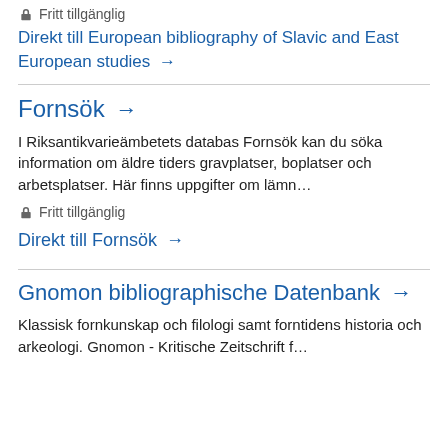Fritt tillgänglig
Direkt till European bibliography of Slavic and East European studies →
Fornsök →
I Riksantikvarieämbetets databas Fornsök kan du söka information om äldre tiders gravplatser, boplatser och arbetsplatser. Här finns uppgifter om lämn...
Fritt tillgänglig
Direkt till Fornsök →
Gnomon bibliographische Datenbank →
Klassisk fornkunskap och filologi samt forntidens historia och arkeologi. Gnomon - Kritische Zeitschrift f...